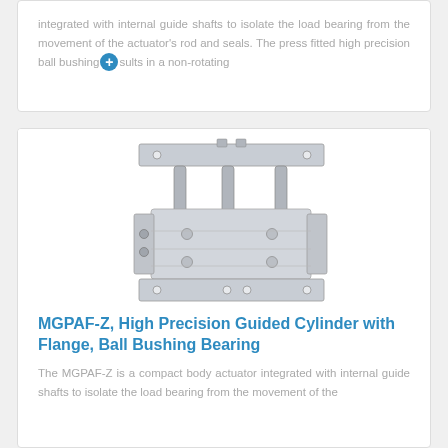integrated with internal guide shafts to isolate the load bearing from the movement of the actuator's rod and seals. The press fitted high precision ball bushing [+] sults in a non-rotating
[Figure (photo): Photo of MGPAF-Z compact guided cylinder with flange and ball bushing bearing — silver aluminum body with top and bottom flanges and three guide shafts]
MGPAF-Z, High Precision Guided Cylinder with Flange, Ball Bushing Bearing
The MGPAF-Z is a compact body actuator integrated with internal guide shafts to isolate the load bearing from the movement of the